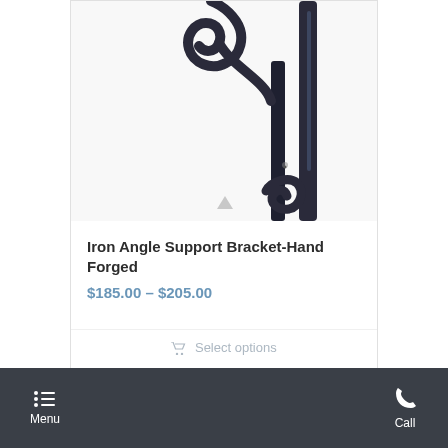[Figure (photo): Close-up photo of a hand-forged iron angle support bracket with decorative scrollwork, dark metallic finish, showing curved and spiral elements.]
Iron Angle Support Bracket-Hand Forged
$185.00 – $205.00
Select options
Menu   Call